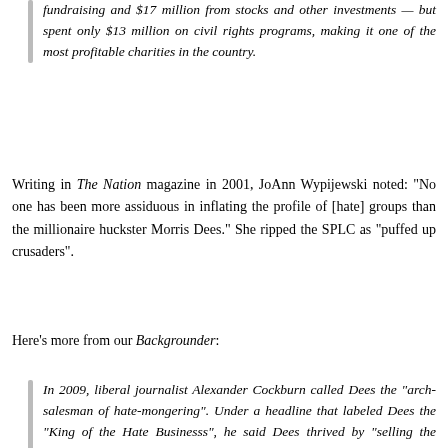fundraising and $17 million from stocks and other investments — but spent only $13 million on civil rights programs, making it one of the most profitable charities in the country.
Writing in The Nation magazine in 2001, JoAnn Wypijewski noted: "No one has been more assiduous in inflating the profile of [hate] groups than the millionaire huckster Morris Dees." She ripped the SPLC as "puffed up crusaders".
Here's more from our Backgrounder:
In 2009, liberal journalist Alexander Cockburn called Dees the "arch-salesman of hate-mongering". Under a headline that labeled Dees the "King of the Hate Businesss", he said Dees thrived by "selling the notion there's a right resurgence out there in the hinterland with massed legions of haters, ready to march down Main Street draped in Klan robes, a copy of 'Mein Kampf'